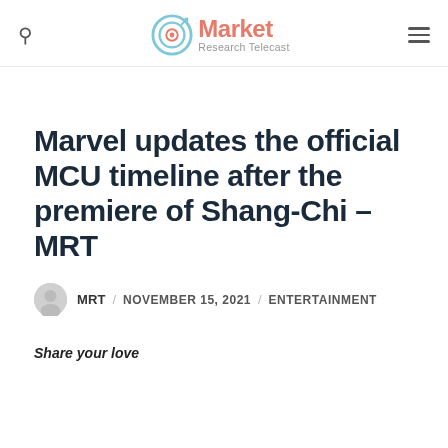Market Research Telecast
Marvel updates the official MCU timeline after the premiere of Shang-Chi – MRT
MRT / NOVEMBER 15, 2021 / ENTERTAINMENT
Share your love